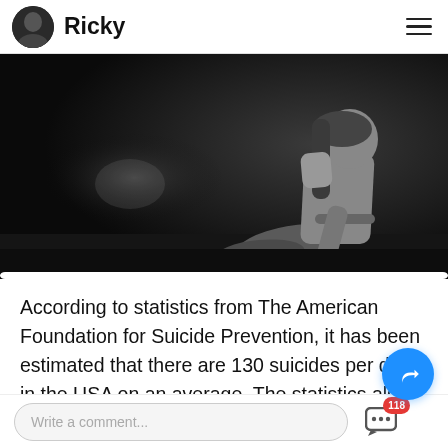Ricky
[Figure (photo): Black and white photo of a young woman sitting alone, viewed from the side, dark moody background]
According to statistics from The American Foundation for Suicide Prevention, it has been estimated that there are 130 suicides per day in the USA on an average. The statistics also say that suicide is the 12th leading cause of death in the
Write a comment...  118